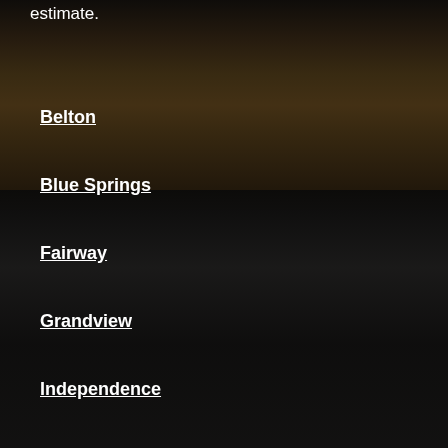estimate.
Belton
Blue Springs
Fairway
Grandview
Independence
Kansas City
Leawood
Lee's Summit
Lenexa
Liberty
Mission
Olathe